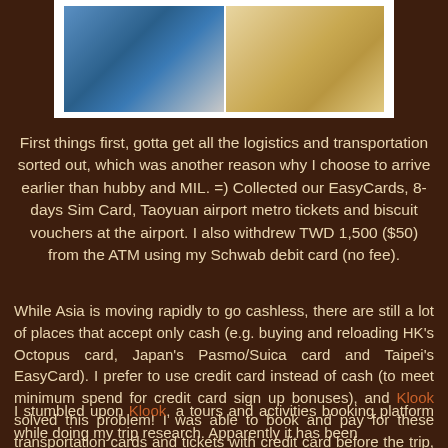[Figure (photo): Two photos side by side: left shows a blue toilet/bidet in an airport bathroom, right shows souvenir biscuit voucher cards with stamps and designs]
First things first, gotta get all the logistics and transportation sorted out, which was another reason why I choose to arrive earlier than hubby and MIL. =) Collected our EasyCards, 8-days Sim Card, Taoyuan airport metro tickets and biscuit vouchers at the airport. I also withdrew TWD 1,500 ($50) from the ATM using my Schwab debit card (no fee).
While Asia is moving rapidly to go cashless, there are still a lot of places that accept only cash (e.g. buying and reloading HK's Octopus card, Japan's Pasmo/Suica card and Taipei's EasyCard). I prefer to use credit card instead of cash (to meet minimum spend for credit card sign up bonuses), and Klook solved this problem! I was able to book and pay for these transportation cards and tickets with credit card before the trip, and redeemed them hassle free!
I stumbled upon Klook, a tours and activities booking platform while doing my trip research. Apparently it has been